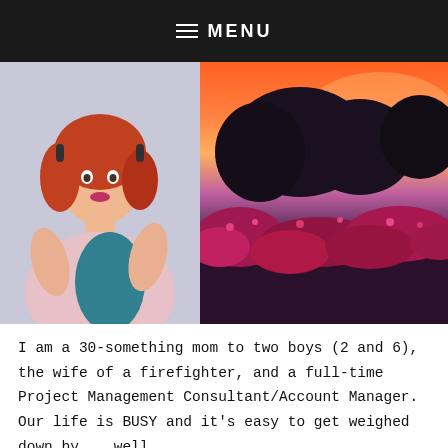MENU
[Figure (photo): Two photos side by side: left photo shows a red-haired woman in a pink top holding someone; right photo shows a dramatic sunset sky with pink and orange hues over dark trees and pink flowering bushes.]
I am a 30-something mom to two boys (2 and 6), the wife of a firefighter, and a full-time Project Management Consultant/Account Manager. Our life is BUSY and it's easy to get weighed down by .. well ..
This website uses cookies to improve your experience. We'll assume you're ok with this, but you can opt-out if you wish.  Accept  Read More